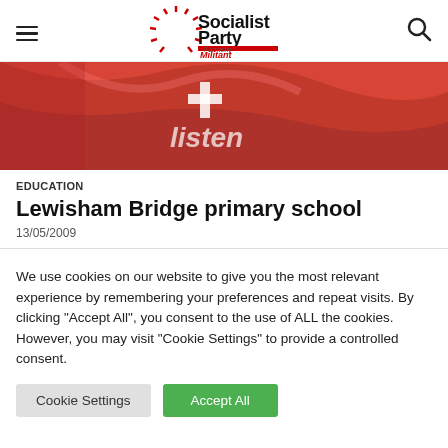Socialist Party - Formerly Militant
[Figure (photo): Red fabric/clothing with white text partially visible reading 'listen', close-up photo]
EDUCATION
Lewisham Bridge primary school
13/05/2009
We use cookies on our website to give you the most relevant experience by remembering your preferences and repeat visits. By clicking "Accept All", you consent to the use of ALL the cookies. However, you may visit "Cookie Settings" to provide a controlled consent.
Cookie Settings | Accept All